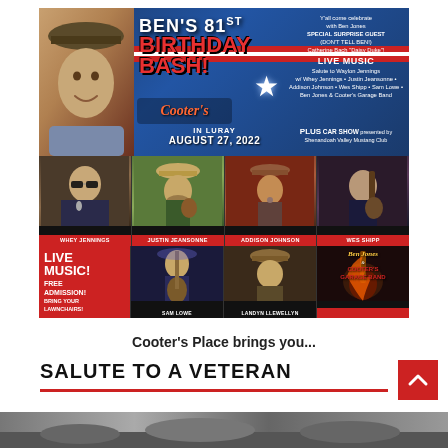[Figure (photo): Event poster for Ben's 81st Birthday Bash at Cooter's in Luray, August 27, 2022. Features performers: Whey Jennings, Justin Jeansonne, Addison Johnson, Wes Shipp, Sam Lowe, Landyn Llewellyn, Ben Jones & Cooter's Garage Band. Live Music, Free Admission, Car Show presented by Shenandoah Valley Mustang Club.]
Cooter's Place brings you...
SALUTE TO A VETERAN
[Figure (photo): Partially visible photo at the bottom of the page, cropped]